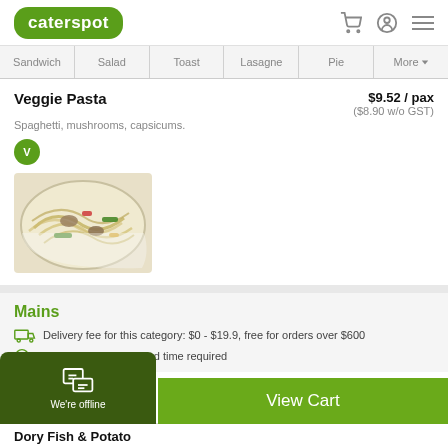caterspot
Sandwich  Salad  Toast  Lasagne  Pie  More
Veggie Pasta
Spaghetti, mushrooms, capsicums.
$9.52 / pax ($8.90 w/o GST)
[Figure (photo): Plate of veggie pasta with spaghetti, mushrooms, green capsicums and colorful vegetables]
Mains
Delivery fee for this category: $0 - $19.9, free for orders over $600
Order notice: 3 days lead time required
View Cart
We're offline
Dory Fish & Potato